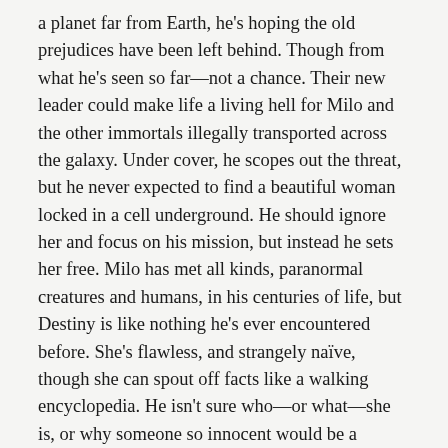a planet far from Earth, he's hoping the old prejudices have been left behind. Though from what he's seen so far—not a chance. Their new leader could make life a living hell for Milo and the other immortals illegally transported across the galaxy. Under cover, he scopes out the threat, but he never expected to find a beautiful woman locked in a cell underground. He should ignore her and focus on his mission, but instead he sets her free. Milo has met all kinds, paranormal creatures and humans, in his centuries of life, but Destiny is like nothing he's ever encountered before. She's flawless, and strangely naïve, though she can spout off facts like a walking encyclopedia. He isn't sure who—or what—she is, or why someone so innocent would be a prisoner. All he knows is Destiny is different, and finding out why could be their